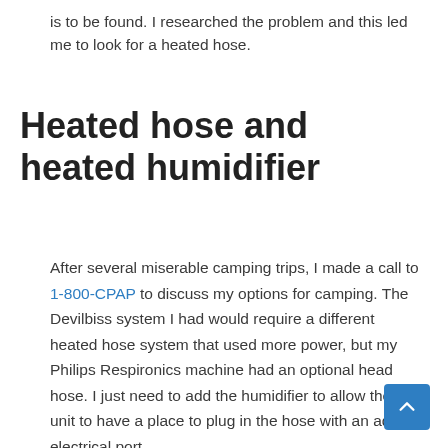is to be found. I researched the problem and this led me to look for a heated hose.
Heated hose and heated humidifier
After several miserable camping trips, I made a call to 1-800-CPAP to discuss my options for camping. The Devilbiss system I had would require a different heated hose system that used more power, but my Philips Respironics machine had an optional head hose. I just need to add the humidifier to allow the unit to have a place to plug in the hose with an added electrical port.